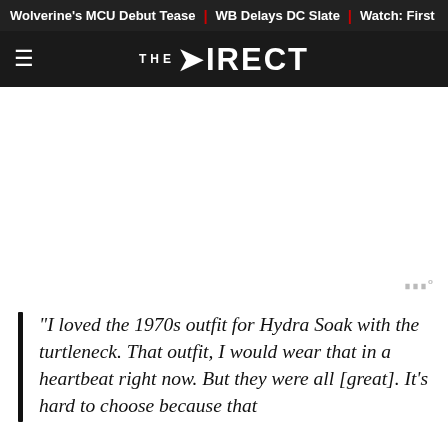Wolverine's MCU Debut Tease | WB Delays DC Slate | Watch: First
[Figure (logo): The Direct logo with hamburger menu icon on dark navigation bar]
[Figure (other): Advertisement/blank white space area with small badge]
"I loved the 1970s outfit for Hydra Soak with the turtleneck. That outfit, I would wear that in a heartbeat right now. But they were all [great]. It's hard to choose because that